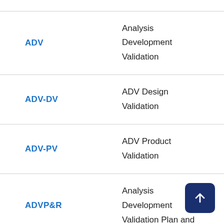| Abbreviation | Definition |
| --- | --- |
| ADV | Analysis
Development
Validation |
| ADV-DV | ADV Design Validation |
| ADV-PV | ADV Product Validation |
| ADVP&R | Analysis Development Validation Plan and |